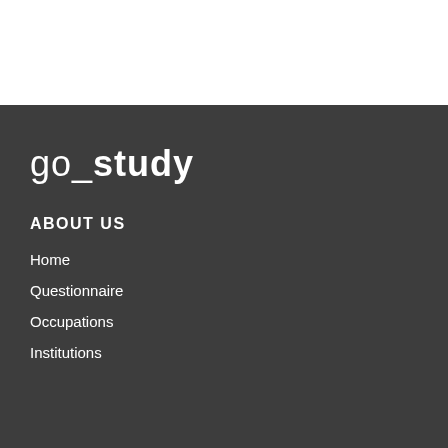[Figure (logo): go_study logo: white text on dark background, 'go_' in light weight and 'study' in bold]
ABOUT US
Home
Questionnaire
Occupations
Institutions